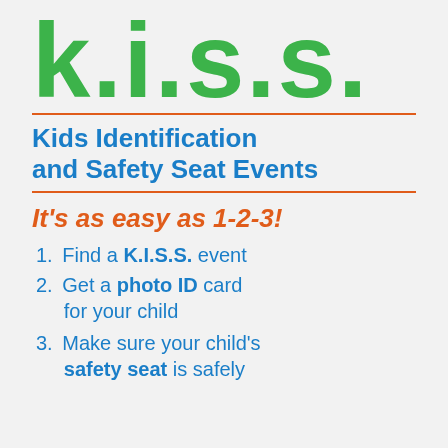k.i.s.s.
Kids Identification and Safety Seat Events
It's as easy as 1-2-3!
1. Find a K.I.S.S. event
2. Get a photo ID card for your child
3. Make sure your child's safety seat is safely